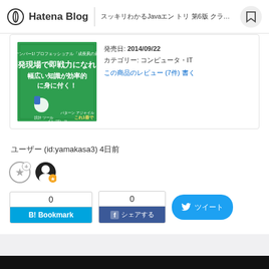Hatena Blog　□□□□□□□Java□□ □□□ □6□ □□□□□□□□□□□□□
[Figure (screenshot): Book cover image on green background: 開発現場で即戦力になれる幅広い知識が効率的に身に付く！]
□□□: 2014/09/22
□□□□: □□□□□□□□□□
□□□□□□□□□□□□ (7□) □□□
□□□□ (id:yamakasa3) 4□□
[Figure (infographic): Star icons and user avatar icons]
0
B! Bookmark
0
□□□□□
□□□□